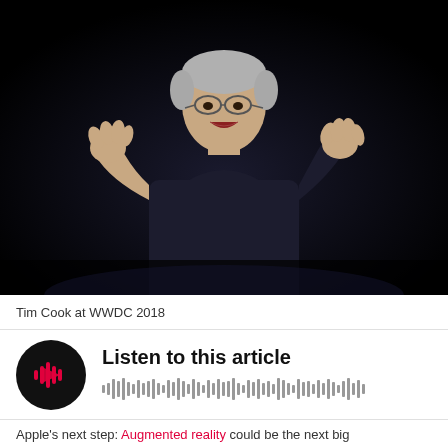[Figure (photo): Tim Cook on stage at WWDC 2018, clapping his hands together against a dark background, wearing a dark shirt and glasses with gray hair.]
Tim Cook at WWDC 2018
[Figure (other): Audio player with dark circular play button featuring pink/red waveform icon, title 'Listen to this article', and a waveform visualization below]
Listen to this article